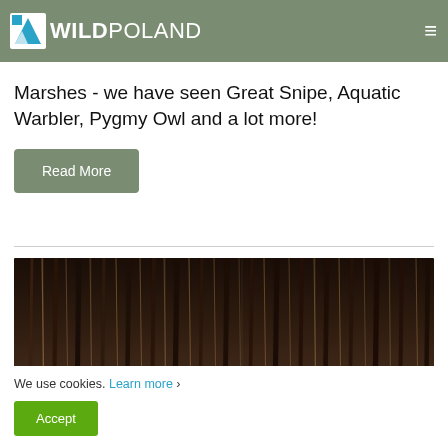WILD POLAND
report from our best-selling 8-day tour in the Białowieża Forest and Biebrza Marshes - we have seen Great Snipe, Aquatic Warbler, Pygmy Owl and a lot more!
Read More
[Figure (photo): Aerial or close-up photograph of a dense forest, showing vertical tree trunks with dark and warm tones]
We use cookies. Learn more › Accept